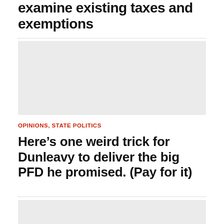examine existing taxes and exemptions
[Figure (photo): Gray placeholder image block at top of page]
OPINIONS, STATE POLITICS
Here’s one weird trick for Dunleavy to deliver the big PFD he promised. (Pay for it)
[Figure (photo): Gray placeholder image block at bottom of page]